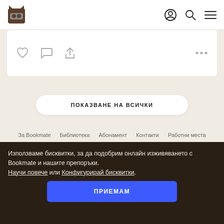Bookmate navigation bar with logo, profile, search, and menu icons
[Figure (screenshot): Card with heart, comment, share icons and three-dot menu]
ПОКАЗВАНЕ НА ВСИЧКИ
За Bookmate  Библиотека  Абонамент  Контакти  Работни места
Използваме бисквитки, за да подобрим онлайн изживяването с Bookmate и нашите препоръки.
Научи повече или Конфигурирай бисквитки.
ПРИЕМАМ